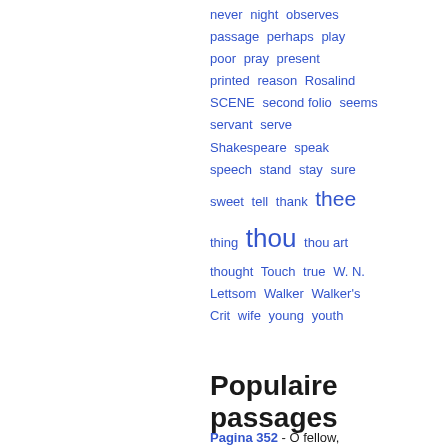never  night  observes  passage  perhaps  play  poor  pray  present  printed  reason  Rosalind  SCENE  second folio  seems  servant  serve  Shakespeare  speak  speech  stand  stay  sure  sweet  tell  thank  thee  thing  thou  thou art  thought  Touch  true  W. N. Lettsom  Walker  Walker's Crit  wife  young  youth
Populaire passages
Pagina 352 - O fellow,